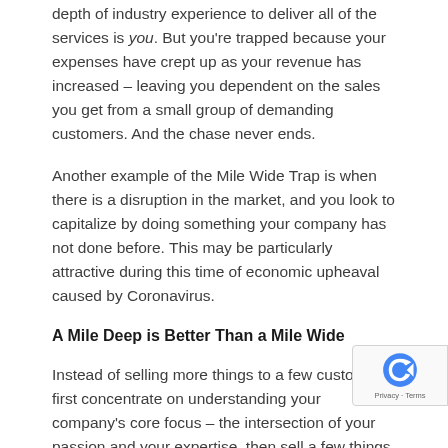depth of industry experience to deliver all of the services is you. But you're trapped because your expenses have crept up as your revenue has increased – leaving you dependent on the sales you get from a small group of demanding customers. And the chase never ends.
Another example of the Mile Wide Trap is when there is a disruption in the market, and you look to capitalize by doing something your company has not done before. This may be particularly attractive during this time of economic upheaval caused by Coronavirus.
A Mile Deep is Better Than a Mile Wide
Instead of selling more things to a few customers, first concentrate on understanding your company's core focus – the intersection of your passion and your expertise, then sell a few things to a lot of custome…